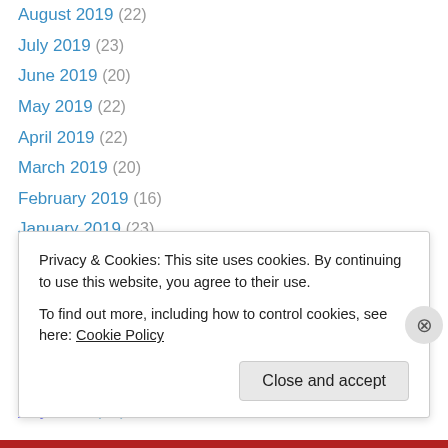August 2019 (22)
July 2019 (23)
June 2019 (20)
May 2019 (22)
April 2019 (22)
March 2019 (20)
February 2019 (16)
January 2019 (23)
December 2018 (21)
November 2018 (22)
October 2018 (23)
September 2018 (19)
August 2018 (17)
July 2018 (22)
Privacy & Cookies: This site uses cookies. By continuing to use this website, you agree to their use. To find out more, including how to control cookies, see here: Cookie Policy
Close and accept